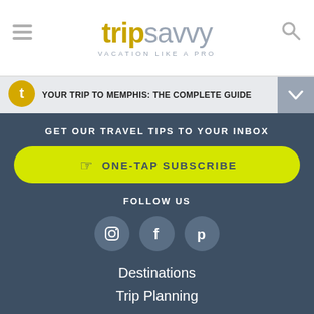[Figure (logo): TripSavvy logo with hamburger menu and search icon. Logo reads 'trip' in gold/amber bold and 'savvy' in gray light weight. Tagline: VACATION LIKE A PRO]
YOUR TRIP TO MEMPHIS: THE COMPLETE GUIDE
GET OUR TRAVEL TIPS TO YOUR INBOX
ONE-TAP SUBSCRIBE
FOLLOW US
[Figure (illustration): Three social media icons in gray circles: Instagram, Facebook, Pinterest]
Destinations
Trip Planning
[Figure (illustration): Amtrak advertisement banner: EXPLORE NEW CITIES with Amtrak logo]